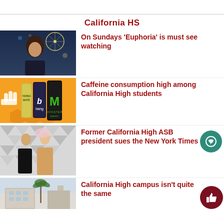California HS
[Figure (photo): Young woman with curly hair at a fairground at night, Ferris wheel visible in background]
On Sundays ‘Euphoria’ is must see watching
[Figure (photo): Energy drink cans including Monster, Bang, and Yerba Mate on an orange background with illustrated hand]
Caffeine consumption high among California High students
[Figure (photo): Two young women posing at an event with geometric white tile background]
Former California High ASB president sues the New York Times
[Figure (photo): California High campus building exterior with palm trees]
California High campus isn’t quite the same